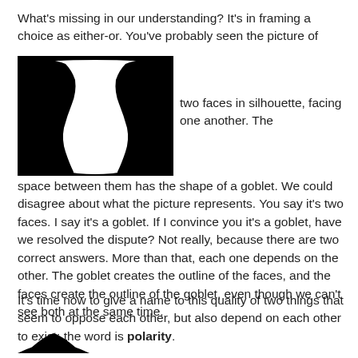What's missing in our understanding? It's in framing a choice as either-or. You've probably seen the picture of
[Figure (illustration): Black silhouette of two faces in profile facing each other, with a goblet/vase shape visible in the negative space between them (Rubin's vase optical illusion). Partial image also visible at bottom of page.]
two faces in silhouette, facing one another. The space between them has the shape of a goblet. We could disagree about what the picture represents. You say it's two faces. I say it's a goblet. If I convince you it's a goblet, have we resolved the dispute? Not really, because there are two correct answers. More than that, each one depends on the other. The goblet creates the outline of the faces, and the faces create the outline of the goblet, even though we can't see both at the same time.
It's time now to give a name to this quality of two things that seem to oppose each other, but also depend on each other to exist: the word is polarity.